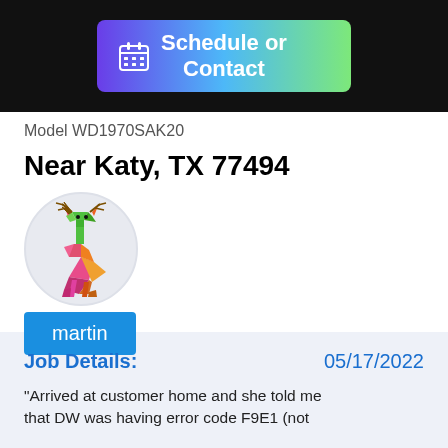[Figure (screenshot): Schedule or Contact button with calendar icon, gradient background from purple to green]
Model WD1970SAK20
Near Katy, TX 77494
[Figure (illustration): Colorful geometric low-poly deer logo inside a light grey circle]
martin
Job Details:
05/17/2022
"Arrived at customer home and she told me that DW was having error code F9E1 (not